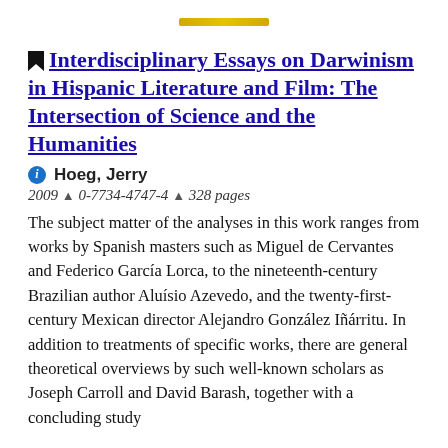Interdisciplinary Essays on Darwinism in Hispanic Literature and Film: The Intersection of Science and the Humanities
Hoeg, Jerry
2009 ^ 0-7734-4747-4 ^ 328 pages
The subject matter of the analyses in this work ranges from works by Spanish masters such as Miguel de Cervantes and Federico García Lorca, to the nineteenth-century Brazilian author Aluísio Azevedo, and the twenty-first-century Mexican director Alejandro González Iñárritu. In addition to treatments of specific works, there are general theoretical overviews by such well-known scholars as Joseph Carroll and David Barash, together with a concluding study